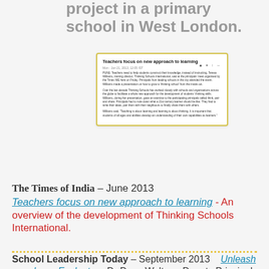project in a primary school in West London.
[Figure (screenshot): Screenshot of a news article titled 'Teachers focus on new approach to learning' from Times NIE, dated Mon, Jun 21, 2013. Article discusses Teresa Williams, training director of Thinking Schools International, speaking at a principals meet organised by Times NIE. Mentions a 21st century learner exercise and a quote about teaching being about learning and thinking.]
The Times of India – June 2013 Teachers focus on new approach to learning - An overview of the development of Thinking Schools International.
School Leadership Today – September 2013   Unleash your Inner Evaluator - Dr Dave Walters, Deputy Principal Clyst Vale.